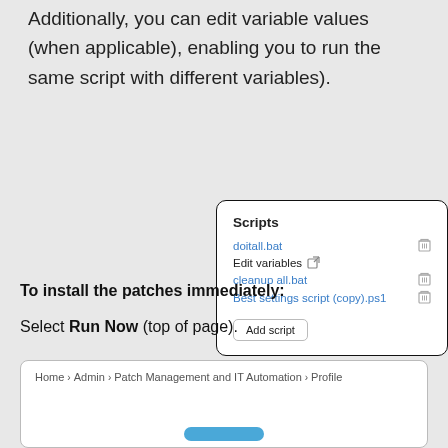Additionally, you can edit variable values (when applicable), enabling you to run the same script with different variables).
[Figure (screenshot): Scripts panel showing script list: doitall.bat, Edit variables with external link icon, cleanup all.bat, Best settings script (copy).ps1, and an Add script button. Each script has a trash/delete icon.]
To install the patches immediately:
Select Run Now (top of page).
[Figure (screenshot): Bottom card showing breadcrumb navigation: Home > Admin > Patch Management and IT Automation > Profile, with a blue button partially visible at the bottom.]